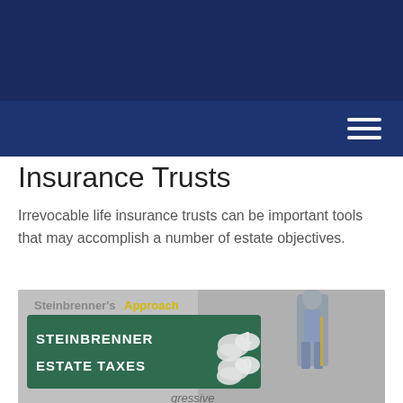Insurance Trusts
Irrevocable life insurance trusts can be important tools that may accomplish a number of estate objectives.
[Figure (photo): Scoreboard-style graphic showing 'Steinbrenner's Approach' with a green scoreboard reading STEINBRENNER 1, ESTATE TAXES 0, with a figurine of a man and text referencing 'Progressive']